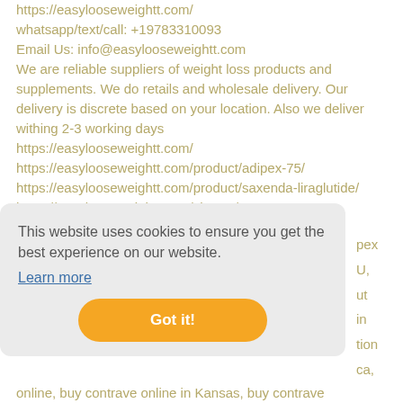https://easylooseweightt.com/
whatsapp/text/call: +19783310093
Email Us: info@easylooseweightt.com
We are reliable suppliers of weight loss products and supplements. We do retails and wholesale delivery. Our delivery is discrete based on your location. Also we deliver withing 2-3 working days
https://easylooseweightt.com/
https://easylooseweightt.com/product/adipex-75/
https://easylooseweightt.com/product/saxenda-liraglutide/
https://easylooseweightt.com/shop-2/
https://issuu.com/weightlosshome/docs/article.txt.docx
[Figure (screenshot): Cookie consent banner with text 'This website uses cookies to ensure you get the best experience on our website.' with a 'Learn more' link and an orange 'Got it!' button. Partially visible text on the right side showing fragments: 'pex', 'U,', 'ut', 'in', 'tion', 'ca,'.]
online, buy contrave online in Kansas, buy contrave